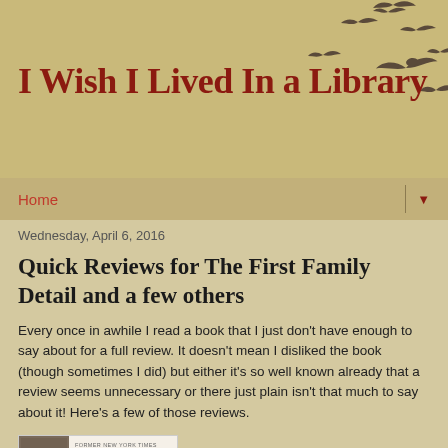I Wish I Lived In a Library
[Figure (illustration): Several flying birds silhouettes in dark gray/brown color, arranged in upper-right area of the header banner]
Home ▼
Wednesday, April 6, 2016
Quick Reviews for The First Family Detail and a few others
Every once in awhile I read a book that I just don't have enough to say about for a full review.  It doesn't mean I disliked the book (though sometimes I did) but either it's so well known already that a review seems unnecessary or there just plain isn't that much to say about it!  Here's a few of those reviews.
[Figure (photo): Book cover image for The First Family Detail, showing a group of people on the left side and text on the right including a subtitle about Secret Service agents revealing the hidden lives of the presidents, with red title text at the bottom]